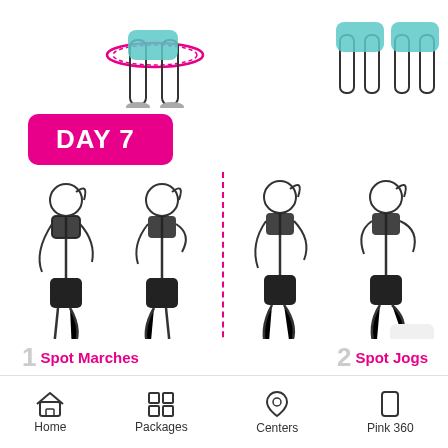[Figure (illustration): Partial cropped view of exercise illustrations at top of page showing legs/lower body of figures doing exercises]
DAY 7
[Figure (illustration): Two female figures demonstrating Spot Marches exercise - marching in place with knees raised, shown in two positions]
[Figure (illustration): Two female figures demonstrating Spot Jogs exercise - jogging in place with knees raised, shown in two positions]
1 Spot Marches
2 Spot Jogs
Home   Packages   Centers   Pink 360